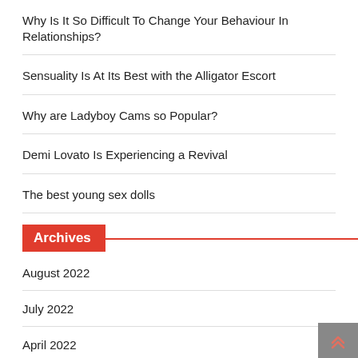Why Is It So Difficult To Change Your Behaviour In Relationships?
Sensuality Is At Its Best with the Alligator Escort
Why are Ladyboy Cams so Popular?
Demi Lovato Is Experiencing a Revival
The best young sex dolls
Archives
August 2022
July 2022
April 2022
March 2022